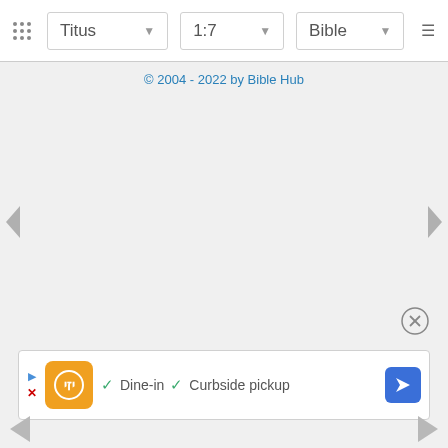Titus  1:7  Bible
© 2004 - 2022 by Bible Hub
[Figure (screenshot): Advertisement banner showing a restaurant logo with checkmarks for Dine-in and Curbside pickup options, with a navigation arrow button]